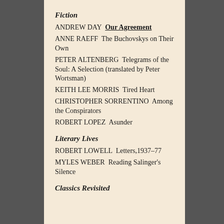Fiction
ANDREW DAY  Our Agreement
ANNE RAEFF  The Buchovskys on Their Own
PETER ALTENBERG  Telegrams of the Soul: A Selection (translated by Peter Wortsman)
KEITH LEE MORRIS  Tired Heart
CHRISTOPHER SORRENTINO  Among the Conspirators
ROBERT LOPEZ  Asunder
Literary Lives
ROBERT LOWELL  Letters,1937–77
MYLES WEBER  Reading Salinger's Silence
Classics Revisited